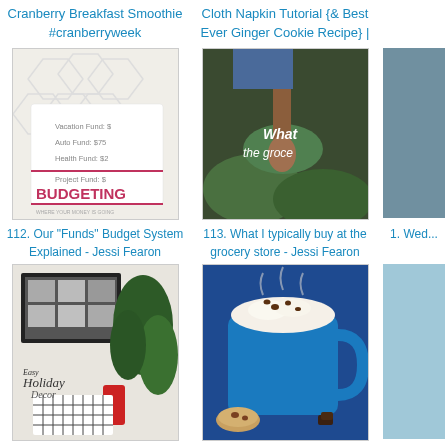Cranberry Breakfast Smoothie #cranberryweek
Cloth Napkin Tutorial {& Best Ever Ginger Cookie Recipe} |
[Figure (photo): Budgeting worksheet/book with text showing Vacation Fund, Auto Fund, Health Fund, Project Fund, and the word BUDGETING]
112. Our "Funds" Budget System Explained - Jessi Fearon
[Figure (photo): Person holding wooden spoon over groceries with text 'What the groce']
113. What I typically buy at the grocery store - Jessi Fearon
1. Wed...
[Figure (photo): Holiday wall decoration with greenery and calligraphy text 'Easy Holiday Decor']
115. DIY Bargain Christmas Wall Decoration
[Figure (photo): Blue mug with homemade hot chocolate topped with whipped cream and toppings]
116. How to Make the Best Homemade Hot Chocolate
11. Affo...